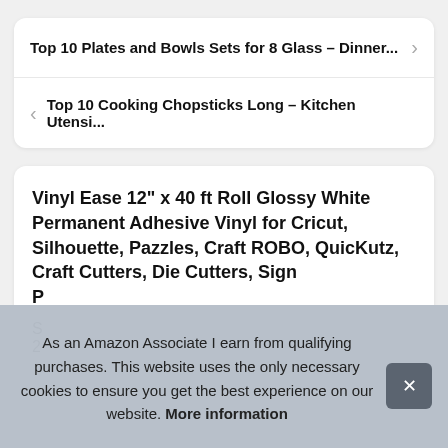Top 10 Plates and Bowls Sets for 8 Glass – Dinner...
Top 10 Cooking Chopsticks Long – Kitchen Utensi...
Vinyl Ease 12" x 40 ft Roll Glossy White Permanent Adhesive Vinyl for Cricut, Silhouette, Pazzles, Craft ROBO, QuicKutz, Craft Cutters, Die Cutters, Sign P...
As an Amazon Associate I earn from qualifying purchases. This website uses the only necessary cookies to ensure you get the best experience on our website. More information